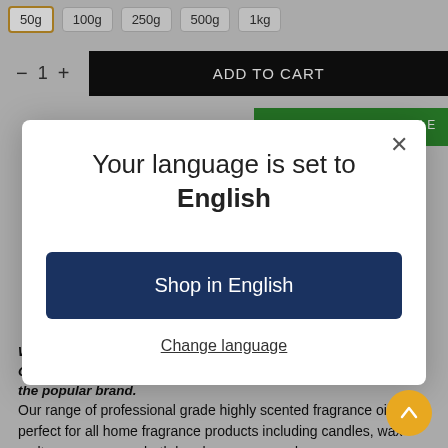[Figure (screenshot): E-commerce product page background showing size selector buttons (50g selected with gold border, 100g, 250g, 500g, 1kg), quantity control with minus/plus, black ADD TO CART button, green NOTIFY WHEN AVAILABLE button]
We are in no way affiliated with the designer candle company. Our fragrance oil simply smells similar in style and identity to the popular brand.
Our range of professional grade highly scented fragrance oils are perfect for all home fragrance products including candles, wax melts, room sprays, bath bombs, soaps, reed
[Figure (screenshot): Modal dialog with white background and close X button. Title: 'Your language is set to English'. Blue button: 'Shop in English'. Link below: 'Change language']